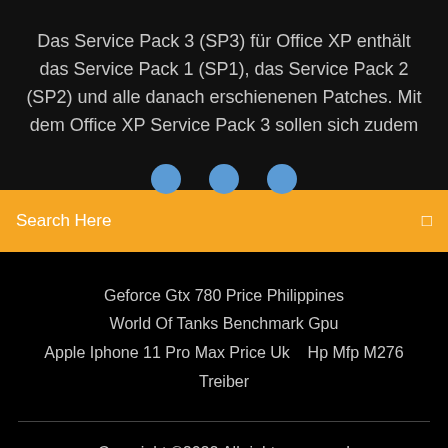Das Service Pack 3 (SP3) für Office XP enthält das Service Pack 1 (SP1), das Service Pack 2 (SP2) und alle danach erschienenen Patches. Mit dem Office XP Service Pack 3 sollen sich zudem
[Figure (other): Three partially visible circular social media icon buttons (blue circles) in a row]
Search Here
Geforce Gtx 780 Price Philippines
World Of Tanks Benchmark Gpu
Apple Iphone 11 Pro Max Price Uk   Hp Mfp M276 Treiber
Copyright ©2022 All rights reserved